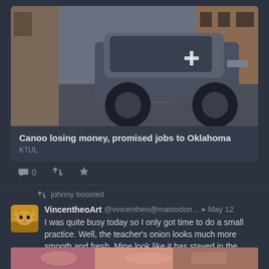[Figure (screenshot): Social media screenshot showing a Mastodon feed. Top post has a news card with photo of a futuristic electric van (Canoo vehicle) on a city street, with headline 'Canoo losing money, promised jobs to Oklahoma' and source 'KTUL'. Below are action icons (reply: 0, boost, favorite). Then 'johnny boosted' indicator. Then a post by VincentheoArt @vincentheo@mastodon... May 12 with text about watercolor practice. Bottom shows start of another post image.]
Canoo losing money, promised jobs to Oklahoma
KTUL
0
johnny boosted
VincentheoArt @vincentheo@mastodon... May 12
I was quite busy today so I only got time to do a small practice. Well, the teacher’s onion looks much more smooth and fresh. Mine look like it has stayed in the fridge for weeks 😐 #watercolor #botanicalillustration #onion